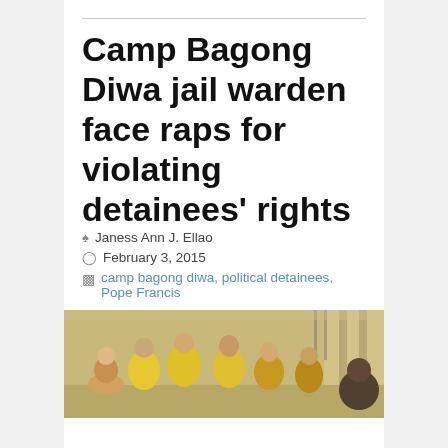Camp Bagong Diwa jail warden face raps for violating detainees' rights
Janess Ann J. Ellao
February 3, 2015
camp bagong diwa, political detainees, Pope Francis
[Figure (photo): Group of people in yellow shirts gathered inside what appears to be a jail facility corridor]